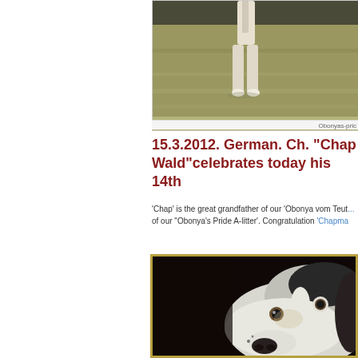[Figure (photo): Dog standing on grass, viewed from behind/side. Shows legs and lower body on green grass background.]
Obonyas-pric
15.3.2012. German. Ch. “Chap... Wald”celebrates today his 14th
‘Chap’ is the great grandfather of our ‘Obonya vom Teut... of our “Obonya’s Pride A-litter’. Congratulation ‘Chapma...
[Figure (photo): Close-up black and white portrait photo of a dog's face (appears to be a pointer or similar breed), looking upward with distinctive markings.]